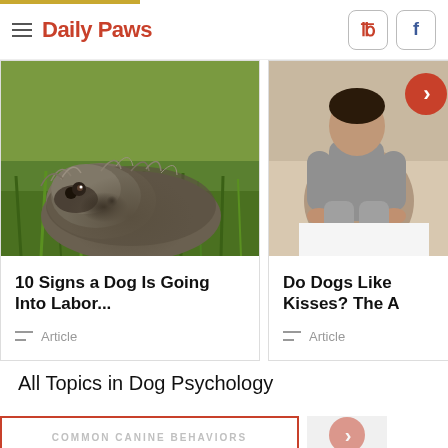Daily Paws
[Figure (photo): Close-up photo of a shaggy dog lying in green grass, peering up at the camera]
10 Signs a Dog Is Going Into Labor...
Article
[Figure (photo): Child sitting on floor, reading or drawing on paper, with a red navigation arrow overlay]
Do Dogs Like Kisses? The A
Article
All Topics in Dog Psychology
[Figure (other): Card with text COMMON CANINE BEHAVIORS with red border]
[Figure (other): Navigation card with red arrow circle]